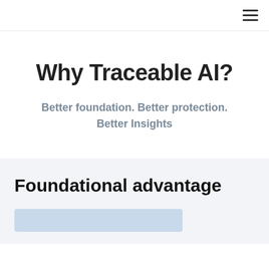≡
Why Traceable AI?
Better foundation. Better protection. Better Insights
Foundational advantage